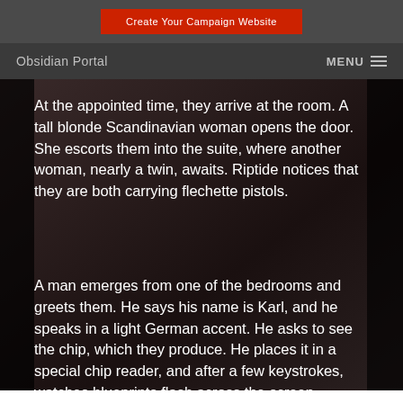Create Your Campaign Website
Obsidian Portal  MENU
At the appointed time, they arrive at the room. A tall blonde Scandinavian woman opens the door. She escorts them into the suite, where another woman, nearly a twin, awaits. Riptide notices that they are both carrying flechette pistols.
A man emerges from one of the bedrooms and greets them. He says his name is Karl, and he speaks in a light German accent. He asks to see the chip, which they produce. He places it in a special chip reader, and after a few keystrokes, watches blueprints flash across the screen. Satisfied, he produces a credit chip